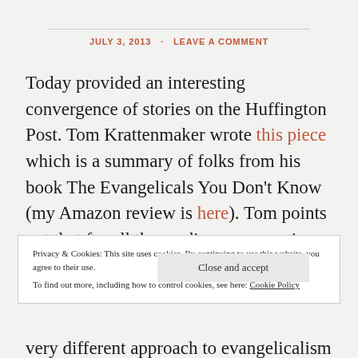JULY 3, 2013 · LEAVE A COMMENT
Today provided an interesting convergence of stories on the Huffington Post. Tom Krattenmaker wrote this piece which is a summary of folks from his book The Evangelicals You Don't Know (my Amazon review is here). Tom points out that for all the media coverage given to folks like James
Privacy & Cookies: This site uses cookies. By continuing to use this website, you agree to their use.
To find out more, including how to control cookies, see here: Cookie Policy
very different approach to evangelicalism that